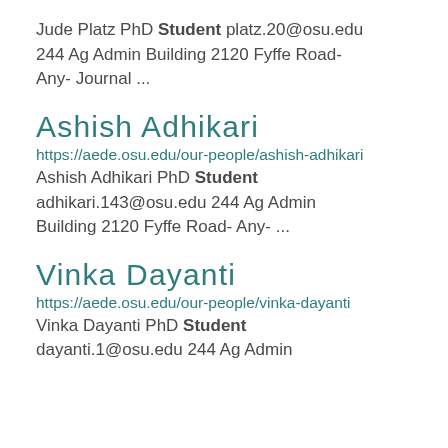Jude Platz PhD Student platz.20@osu.edu 244 Ag Admin Building 2120 Fyffe Road- Any- Journal ...
Ashish Adhikari
https://aede.osu.edu/our-people/ashish-adhikari
Ashish Adhikari PhD Student adhikari.143@osu.edu 244 Ag Admin Building 2120 Fyffe Road- Any- ...
Vinka Dayanti
https://aede.osu.edu/our-people/vinka-dayanti
Vinka Dayanti PhD Student dayanti.1@osu.edu 244 Ag Admin